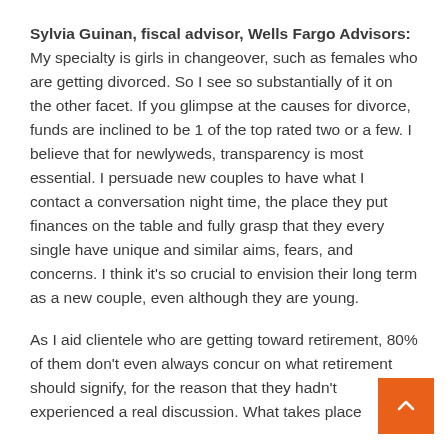Sylvia Guinan, fiscal advisor, Wells Fargo Advisors: My specialty is girls in changeover, such as females who are getting divorced. So I see so substantially of it on the other facet. If you glimpse at the causes for divorce, funds are inclined to be 1 of the top rated two or a few. I believe that for newlyweds, transparency is most essential. I persuade new couples to have what I contact a conversation night time, the place they put finances on the table and fully grasp that they every single have unique and similar aims, fears, and concerns. I think it's so crucial to envision their long term as a new couple, even although they are young.
As I aid clientele who are getting toward retirement, 80% of them don't even always concur on what retirement should signify, for the reason that they hadn't experienced a real discussion. What takes place